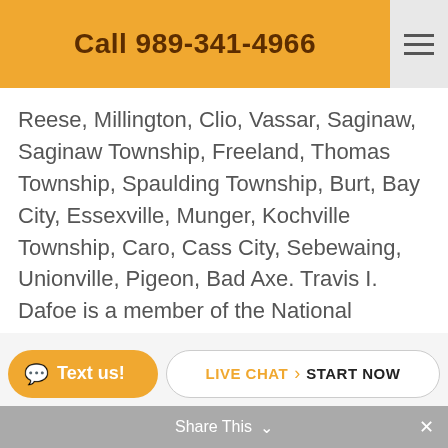Call 989-341-4966
Reese, Millington, Clio, Vassar, Saginaw, Saginaw Township, Freeland, Thomas Township, Spaulding Township, Burt, Bay City, Essexville, Munger, Kochville Township, Caro, Cass City, Sebewaing, Unionville, Pigeon, Bad Axe. Travis I. Dafoe is a member of the National Academy of Elder Law Attorney and WealthCounsel. Dafoe Law, PLLC is also a member of the Life Care Planning Law Firm Association. Start estate plan
Text us! | LIVE CHAT > START NOW | Share This